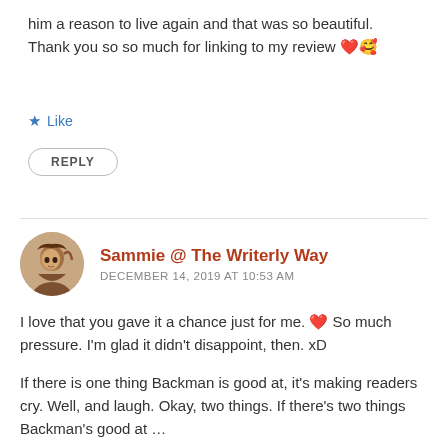him a reason to live again and that was so beautiful. Thank you so so much for linking to my review ❤️🥰
Like
REPLY
Sammie @ The Writerly Way
DECEMBER 14, 2019 AT 10:53 AM
I love that you gave it a chance just for me. ❤️ So much pressure. I'm glad it didn't disappoint, then. xD
If there is one thing Backman is good at, it's making readers cry. Well, and laugh. Okay, two things. If there's two things Backman's good at …